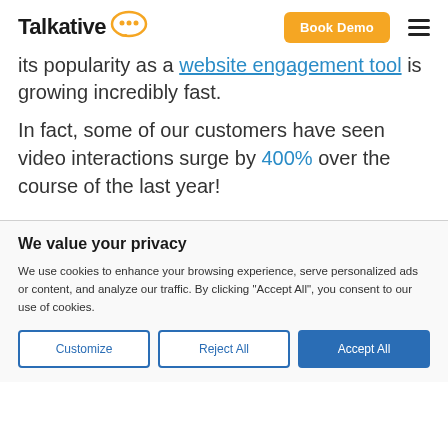[Figure (logo): Talkative logo with speech bubble icon in orange]
its popularity as a website engagement tool is growing incredibly fast.
In fact, some of our customers have seen video interactions surge by 400% over the course of the last year!
We value your privacy
We use cookies to enhance your browsing experience, serve personalized ads or content, and analyze our traffic. By clicking "Accept All", you consent to our use of cookies.
Customize | Reject All | Accept All